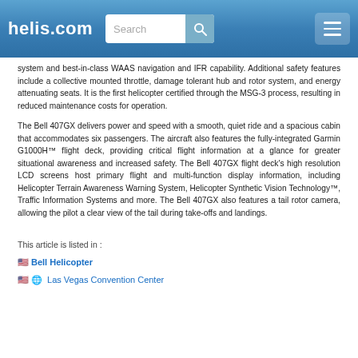helis.com
system and best-in-class WAAS navigation and IFR capability. Additional safety features include a collective mounted throttle, damage tolerant hub and rotor system, and energy attenuating seats. It is the first helicopter certified through the MSG-3 process, resulting in reduced maintenance costs for operation.
The Bell 407GX delivers power and speed with a smooth, quiet ride and a spacious cabin that accommodates six passengers. The aircraft also features the fully-integrated Garmin G1000H™ flight deck, providing critical flight information at a glance for greater situational awareness and increased safety. The Bell 407GX flight deck's high resolution LCD screens host primary flight and multi-function display information, including Helicopter Terrain Awareness Warning System, Helicopter Synthetic Vision Technology™, Traffic Information Systems and more. The Bell 407GX also features a tail rotor camera, allowing the pilot a clear view of the tail during take-offs and landings.
This article is listed in :
Bell Helicopter
Las Vegas Convention Center